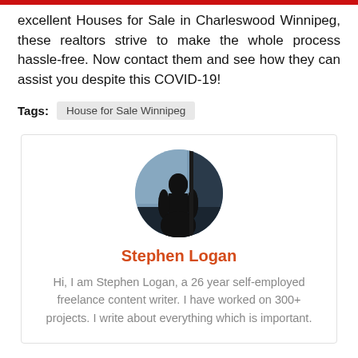excellent Houses for Sale in Charleswood Winnipeg, these realtors strive to make the whole process hassle-free. Now contact them and see how they can assist you despite this COVID-19!
Tags: House for Sale Winnipeg
[Figure (photo): Circular profile photo of a silhouetted person standing in front of a window with a city view]
Stephen Logan
Hi, I am Stephen Logan, a 26 year self-employed freelance content writer. I have worked on 300+ projects. I write about everything which is important.